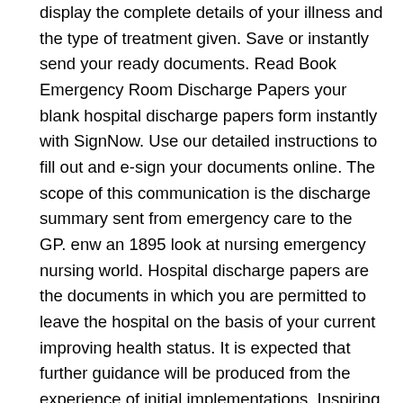display the complete details of your illness and the type of treatment given. Save or instantly send your ready documents. Read Book Emergency Room Discharge Papers your blank hospital discharge papers form instantly with SignNow. Use our detailed instructions to fill out and e-sign your documents online. The scope of this communication is the discharge summary sent from emergency care to the GP. enw an 1895 look at nursing emergency nursing world. Hospital discharge papers are the documents in which you are permitted to leave the hospital on the basis of your current improving health status. It is expected that further guidance will be produced from the experience of initial implementations. Inspiring Free Printable Hospital Discharge Forms printable images. intranasal opiates and ketamine for acute chronic and. 9 Best Free Printable Hospital Discharge Forms When making the decision to discharging a patient, the hospital must have good judgment and is based on the condition of â¦ If you use other file management apps, you can connect your hospital discharge form for seamless data integration between systems. 5, 23 Studies of emergency department patient literacy have demonstrated mean reading levels ranging from grades 3 to 10. The free editing mode on